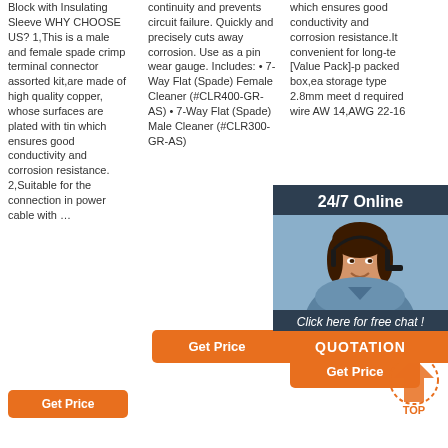Block with Insulating Sleeve WHY CHOOSE US? 1,This is a male and female spade crimp terminal connector assorted kit,are made of high quality copper, whose surfaces are plated with tin which ensures good conductivity and corrosion resistance. 2,Suitable for the connection in power cable with …
continuity and prevents circuit failure. Quickly and precisely cuts away corrosion. Use as a pin wear gauge. Includes: • 7-Way Flat (Spade) Female Cleaner (#CLR400-GR-AS) • 7-Way Flat (Spade) Male Cleaner (#CLR300-GR-AS)
which ensures good conductivity and corrosion resistance.It convenient for long-te [Value Pack]-p packed box,ea storage type 2.8mm meet d required wire AV 14,AWG 22-16
[Figure (photo): 24/7 Online chat popup with a smiling woman wearing a headset, dark blue background, orange QUOTATION button]
Get Price
Get Price